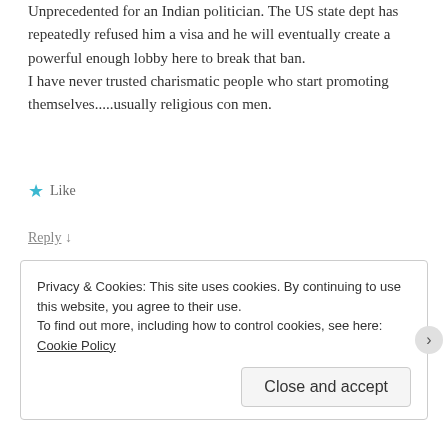Unprecedented for an Indian politician. The US state dept has repeatedly refused him a visa and he will eventually create a powerful enough lobby here to break that ban. I have never trusted charismatic people who start promoting themselves.....usually religious con men.
★ Like
Reply ↓
What Ho!  Post author
June 17, 2013 at 6:18 pm
Privacy & Cookies: This site uses cookies. By continuing to use this website, you agree to their use.
To find out more, including how to control cookies, see here: Cookie Policy
Close and accept